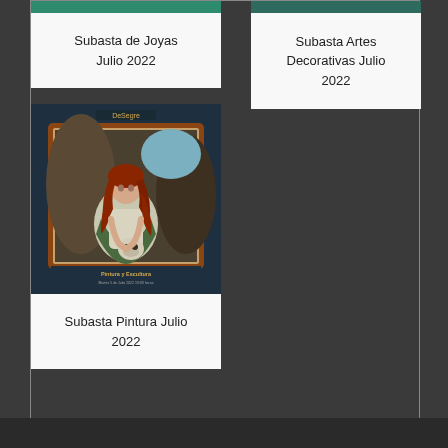[Figure (photo): Green header image strip for Subasta de Joyas (cropped at top)]
Subasta de Joyas Julio 2022
[Figure (photo): Green header image strip for Subasta Artes Decorativas (cropped at top)]
Subasta Artes Decorativas Julio 2022
[Figure (photo): De Segre auction catalog cover showing a painting of Mary Magdalene with red hair holding a skull, titled Pintura y Escultura]
Subasta Pintura Julio 2022